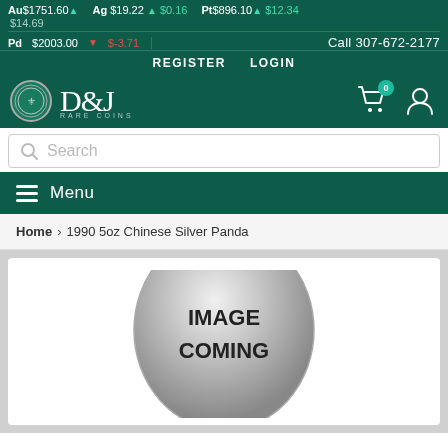Au$1751.60 ▲ $14.69  Ag $19.22 ▲ $0.16  Pt$896.10 ▲ $12.34  Pd $2003.00 ▼ $-3.71  Call 307-672-2177
REGISTER  LOGIN
[Figure (logo): D&J Rare Coins logo with circular emblem and shopping cart icon]
Search
Menu
Home > 1990 5oz Chinese Silver Panda
[Figure (photo): Coin image placeholder showing a silver coin with text IMAGE COMING]